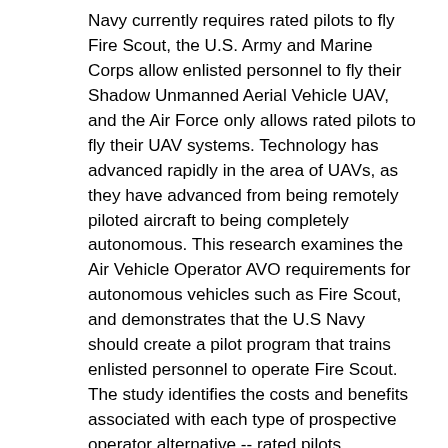Navy currently requires rated pilots to fly Fire Scout, the U.S. Army and Marine Corps allow enlisted personnel to fly their Shadow Unmanned Aerial Vehicle UAV, and the Air Force only allows rated pilots to fly their UAV systems. Technology has advanced rapidly in the area of UAVs, as they have advanced from being remotely piloted aircraft to being completely autonomous. This research examines the Air Vehicle Operator AVO requirements for autonomous vehicles such as Fire Scout, and demonstrates that the U.S Navy should create a pilot program that trains enlisted personnel to operate Fire Scout. The study identifies the costs and benefits associated with each type of prospective operator alternative -- rated pilots, commissioned Surface Warfare Officers SWO, and Operations Specialist OS enlisted personnel. By utilizing enlisted AVOs vice rated pilots, training costs will be reduced from millions to tens of thousands, annual amortized manning costs will be cut by more than half, and total cost savings will be found to be on the order of a billion dollars over a 10-year period. The research also will identify the tangible and intangible benefits of allowing enlisted personnel to become Fire Scout AVOs. These benefits relate to training time, manning constraints, physiological constraints, culture, and safety. In addition, the